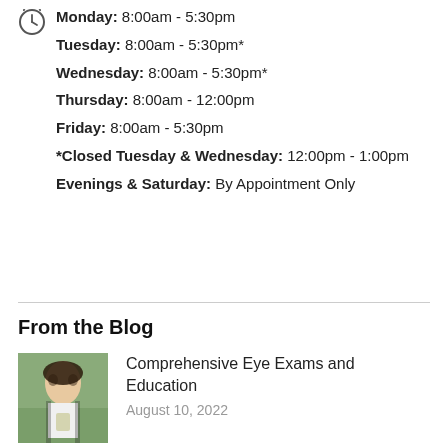Monday: 8:00am - 5:30pm
Tuesday: 8:00am - 5:30pm*
Wednesday: 8:00am - 5:30pm*
Thursday: 8:00am - 12:00pm
Friday: 8:00am - 5:30pm
*Closed Tuesday & Wednesday: 12:00pm - 1:00pm
Evenings & Saturday: By Appointment Only
From the Blog
Comprehensive Eye Exams and Education
August 10, 2022